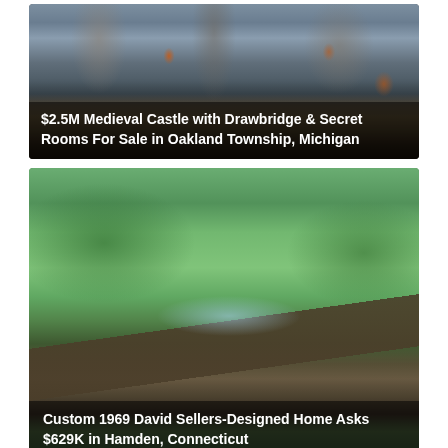[Figure (photo): Medieval stone castle with arched windows, warm glowing lights, and towers, photographed at dusk. Text overlay at bottom reads: $2.5M Medieval Castle with Drawbridge & Secret Rooms For Sale in Oakland Township, Michigan]
[Figure (photo): Aerial/exterior view of a modernist 1969 flat-roof house surrounded by lush green trees in summer. Wide overhanging flat roof with skylights visible. Text overlay at bottom reads: Custom 1969 David Sellers-Designed Home Asks $629K in Hamden, Connecticut]
[Figure (photo): Exterior view of a colonial-style brick home with arched windows and white portico entrance, flanked by trees. Partial view, caption not fully visible.]